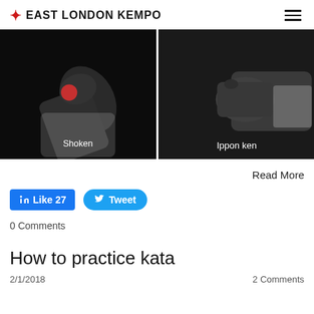EAST LONDON KEMPO
[Figure (photo): Two side-by-side black and white photos of martial arts hand strikes. Left image labeled 'Shoken' shows a fist with a red circular highlight on the knuckle. Right image labeled 'Ippon ken' shows a closed fist from the side.]
Read More
Like 27
Tweet
0 Comments
How to practice kata
2/1/2018
2 Comments